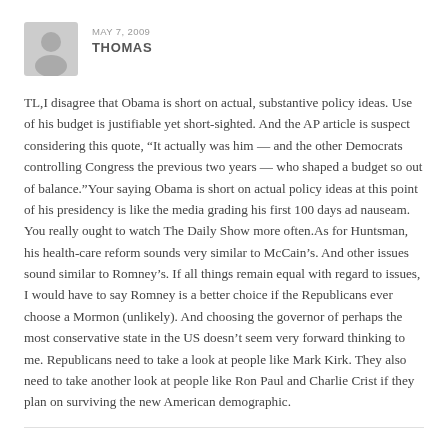MAY 7, 2009
THOMAS
TL,I disagree that Obama is short on actual, substantive policy ideas. Use of his budget is justifiable yet short-sighted. And the AP article is suspect considering this quote, “It actually was him — and the other Democrats controlling Congress the previous two years — who shaped a budget so out of balance.”Your saying Obama is short on actual policy ideas at this point of his presidency is like the media grading his first 100 days ad nauseam. You really ought to watch The Daily Show more often.As for Huntsman, his health-care reform sounds very similar to McCain’s. And other issues sound similar to Romney’s. If all things remain equal with regard to issues, I would have to say Romney is a better choice if the Republicans ever choose a Mormon (unlikely). And choosing the governor of perhaps the most conservative state in the US doesn’t seem very forward thinking to me. Republicans need to take a look at people like Mark Kirk. They also need to take another look at people like Ron Paul and Charlie Crist if they plan on surviving the new American demographic.